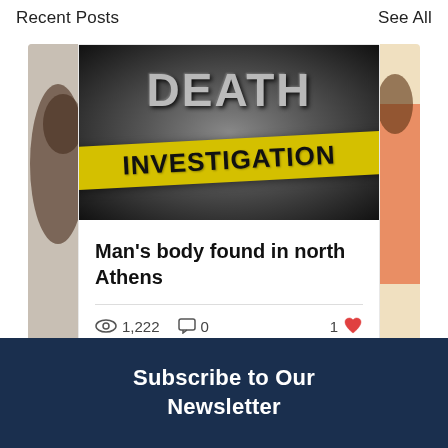Recent Posts    See All
[Figure (photo): Death Investigation graphic image with large cracked text 'DEATH' and a yellow diagonal banner reading 'INVESTIGATION' on a dark background]
Man's body found in north Athens
1,222 views   0 comments   1 like
Subscribe to Our Newsletter